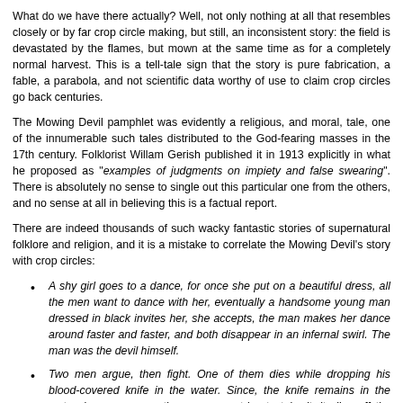What do we have there actually? Well, not only nothing at all that resembles closely or by far crop circle making, but still, an inconsistent story: the field is devastated by the flames, but mown at the same time as for a completely normal harvest. This is a tell-tale sign that the story is pure fabrication, a fable, a parabola, and not scientific data worthy of use to claim crop circles go back centuries.
The Mowing Devil pamphlet was evidently a religious, and moral, tale, one of the innumerable such tales distributed to the God-fearing masses in the 17th century. Folklorist Willam Gerish published it in 1913 explicitly in what he proposed as "examples of judgments on impiety and false swearing". There is absolutely no sense to single out this particular one from the others, and no sense at all in believing this is a factual report.
There are indeed thousands of such wacky fantastic stories of supernatural folklore and religion, and it is a mistake to correlate the Mowing Devil's story with crop circles:
A shy girl goes to a dance, for once she put on a beautiful dress, all the men want to dance with her, eventually a handsome young man dressed in black invites her, she accepts, the man makes her dance around faster and faster, and both disappear in an infernal swirl. The man was the devil himself.
Two men argue, then fight. One of them dies while dropping his blood-covered knife in the water. Since, the knife remains in the water, because every time someone tries to take it, it slips off the hands and falls back down in the water.
In Scotland there are "Earth Dogs". These live inside the ground and feed on corpses in the cemeteries.